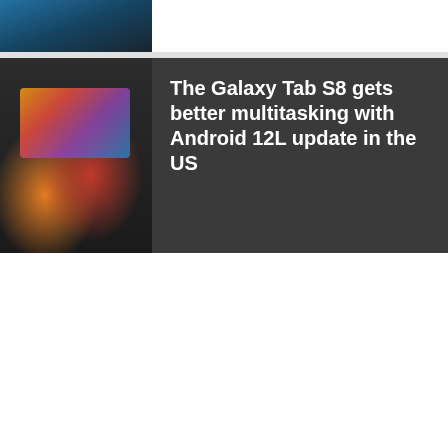[Figure (photo): Partial view of a blue tablet or device cover at the top of the page]
[Figure (photo): Samsung Galaxy Tab S8 with keyboard cover on a desk]
The Galaxy Tab S8 gets better multitasking with Android 12L update in the US